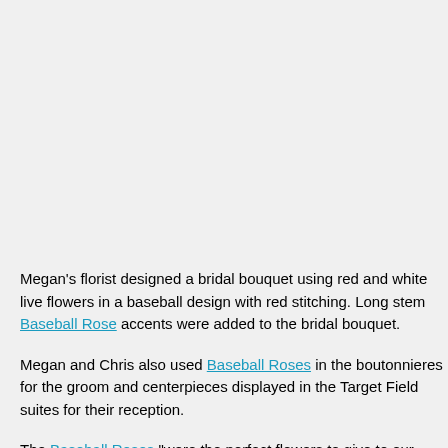Megan's florist designed a bridal bouquet using red and white live flowers in a baseball design with red stitching. Long stem Baseball Rose accents we... the bridal bouquet.
Megan and Chris also used Baseball Roses in the boutonnieres for the g... centerpieces displayed in the Target Field suites for their reception.
The Baseball Roses "were the perfect flowers to give to our families, and... display at each of our parent's houses," Megan shared in her testimonia...